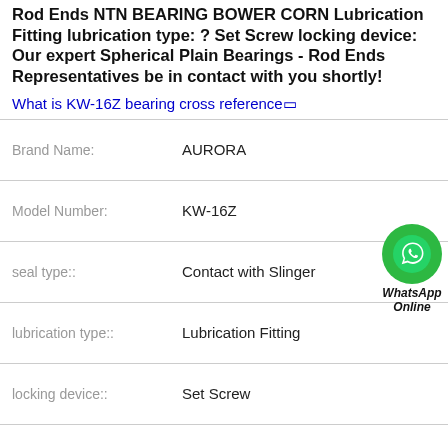Rod Ends NTN BEARING BOWER CORN Lubrication Fitting lubrication type: ? Set Screw locking device: Our expert Spherical Plain Bearings - Rod Ends Representatives be in contact with you shortly!
What is KW-16Z bearing cross reference□
| Property | Value |
| --- | --- |
| Brand Name: | AURORA |
| Model Number: | KW-16Z |
| seal type:: | Contact with Slinger |
| lubrication type:: | Lubrication Fitting |
| locking device:: | Set Screw |
| bore type:: | Round |
| mounting:: | Two-Bolt Base |
[Figure (illustration): WhatsApp Online green circle button with phone icon and label]
All Products   Contact Now